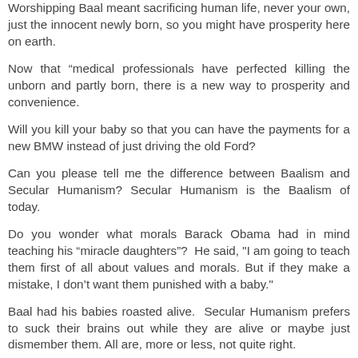Worshipping Baal meant sacrificing human life, never your own, just the innocent newly born, so you might have prosperity here on earth.
Now that “medical professionals have perfected killing the unborn and partly born, there is a new way to prosperity and convenience.
Will you kill your baby so that you can have the payments for a new BMW instead of just driving the old Ford?
Can you please tell me the difference between Baalism and Secular Humanism? Secular Humanism is the Baalism of today.
Do you wonder what morals Barack Obama had in mind teaching his “miracle daughters”?  He said, "I am going to teach them first of all about values and morals. But if they make a mistake, I don’t want them punished with a baby."
Baal had his babies roasted alive.  Secular Humanism prefers to suck their brains out while they are alive or maybe just dismember them. All are, more or less, not quite right.